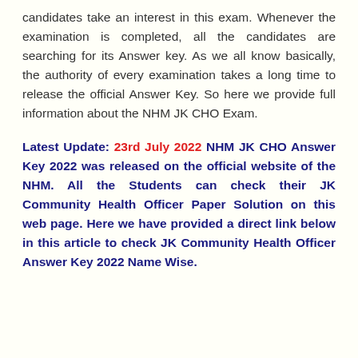candidates take an interest in this exam. Whenever the examination is completed, all the candidates are searching for its Answer key. As we all know basically, the authority of every examination takes a long time to release the official Answer Key. So here we provide full information about the NHM JK CHO Exam.
Latest Update: 23rd July 2022 NHM JK CHO Answer Key 2022 was released on the official website of the NHM. All the Students can check their JK Community Health Officer Paper Solution on this web page. Here we have provided a direct link below in this article to check JK Community Health Officer Answer Key 2022 Name Wise.